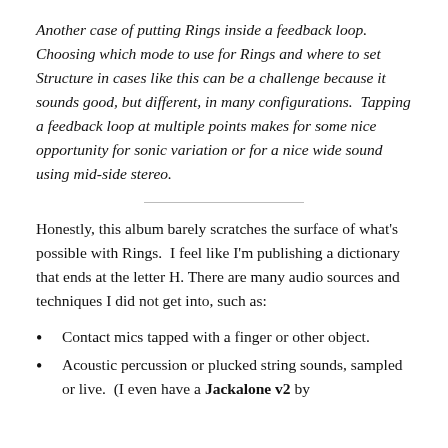Another case of putting Rings inside a feedback loop. Choosing which mode to use for Rings and where to set Structure in cases like this can be a challenge because it sounds good, but different, in many configurations.  Tapping a feedback loop at multiple points makes for some nice opportunity for sonic variation or for a nice wide sound using mid-side stereo.
Honestly, this album barely scratches the surface of what's possible with Rings.  I feel like I'm publishing a dictionary that ends at the letter H. There are many audio sources and techniques I did not get into, such as:
Contact mics tapped with a finger or other object.
Acoustic percussion or plucked string sounds, sampled or live.  (I even have a Jackalone v2 by